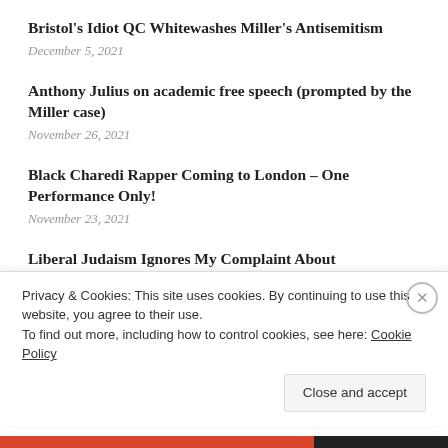Bristol's Idiot QC Whitewashes Miller's Antisemitism
December 5, 2021
Anthony Julius on academic free speech (prompted by the Miller case)
November 26, 2021
Black Charedi Rapper Coming to London – One Performance Only!
November 23, 2021
Liberal Judaism Ignores My Complaint About
Privacy & Cookies: This site uses cookies. By continuing to use this website, you agree to their use.
To find out more, including how to control cookies, see here: Cookie Policy